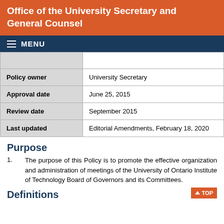Office of the University Secretary and General Counsel
MENU
|  |  |
| --- | --- |
| Policy owner | University Secretary |
| Approval date | June 25, 2015 |
| Review date | September 2015 |
| Last updated | Editorial Amendments, February 18, 2020 |
Purpose
The purpose of this Policy is to promote the effective organization and administration of meetings of the University of Ontario Institute of Technology Board of Governors and its Committees.
Definitions